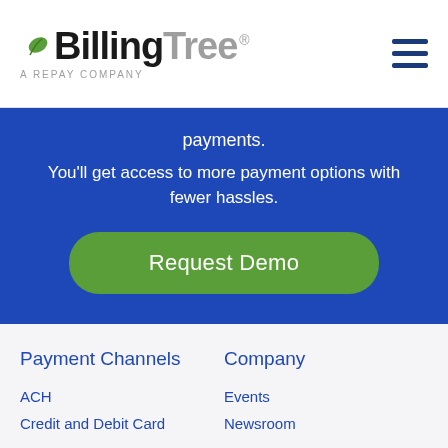[Figure (logo): BillingTree - A REPAY COMPANY logo with green leaf accent]
payments.
You'll get access to more payment options with fewer hassles.
Request Demo
Payment Channels
Company
ACH
Credit and Debit Card
Events
Newsroom